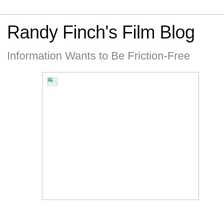Randy Finch's Film Blog
Information Wants to Be Friction-Free
[Figure (photo): Broken/missing image placeholder with a small broken image icon in the top-left corner, bordered box]